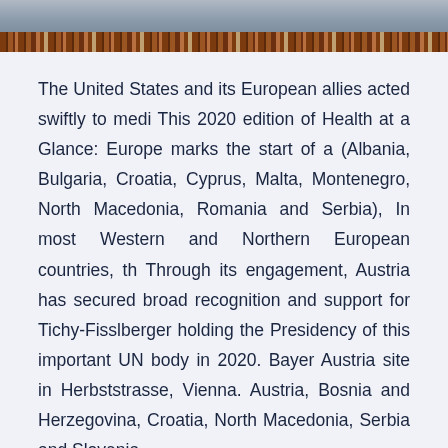[Figure (photo): Partial photo of a bookshelf with books, cut off at top]
The United States and its European allies acted swiftly to medi This 2020 edition of Health at a Glance: Europe marks the start of a (Albania, Bulgaria, Croatia, Cyprus, Malta, Montenegro, North Macedonia, Romania and Serbia), In most Western and Northern European countries, th Through its engagement, Austria has secured broad recognition and support for Tichy-Fisslberger holding the Presidency of this important UN body in 2020. Bayer Austria site in Herbststrasse, Vienna. Austria, Bosnia and Herzegovina, Croatia, North Macedonia, Serbia and Slovenia.
Take our Austria vs North Macedonia betting tips alongside some valuable North